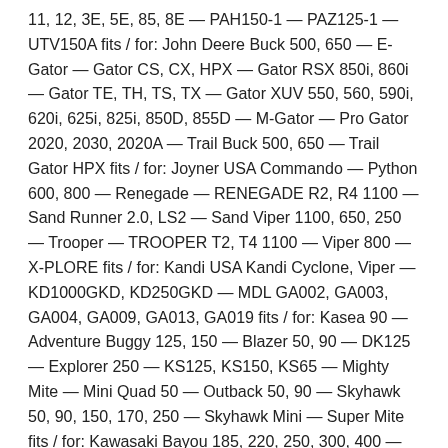11, 12, 3E, 5E, 85, 8E — PAH150-1 — PAZ125-1 — UTV150A fits / for: John Deere Buck 500, 650 — E-Gator — Gator CS, CX, HPX — Gator RSX 850i, 860i — Gator TE, TH, TS, TX — Gator XUV 550, 560, 590i, 620i, 625i, 825i, 850D, 855D — M-Gator — Pro Gator 2020, 2030, 2020A — Trail Buck 500, 650 — Trail Gator HPX fits / for: Joyner USA Commando — Python 600, 800 — Renegade — RENEGADE R2, R4 1100 — Sand Runner 2.0, LS2 — Sand Viper 1100, 650, 250 — Trooper — TROOPER T2, T4 1100 — Viper 800 — X-PLORE fits / for: Kandi USA Kandi Cyclone, Viper — KD1000GKD, KD250GKD — MDL GA002, GA003, GA004, GA009, GA013, GA019 fits / for: Kasea 90 — Adventure Buggy 125, 150 — Blazer 50, 90 — DK125 — Explorer 250 — KS125, KS150, KS65 — Mighty Mite — Mini Quad 50 — Outback 50, 90 — Skyhawk 50, 90, 150, 170, 250 — Skyhawk Mini — Super Mite fits / for: Kawasaki Bayou 185, 220, 250, 300, 400 — Brute Force 300, 650, 750 — KAF450B1 MULE 1000 — KFX250, KFX400, KFX450R, KFX50, KFX700, KFX80, KFX90 — KLF110 — KLT185,